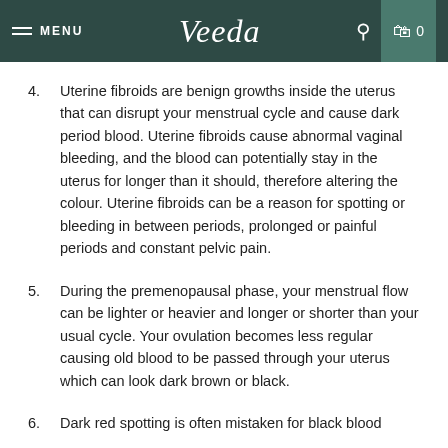MENU | Veeda | 0
4. Uterine fibroids are benign growths inside the uterus that can disrupt your menstrual cycle and cause dark period blood. Uterine fibroids cause abnormal vaginal bleeding, and the blood can potentially stay in the uterus for longer than it should, therefore altering the colour. Uterine fibroids can be a reason for spotting or bleeding in between periods, prolonged or painful periods and constant pelvic pain.
5. During the premenopausal phase, your menstrual flow can be lighter or heavier and longer or shorter than your usual cycle. Your ovulation becomes less regular causing old blood to be passed through your uterus which can look dark brown or black.
6. Dark red spotting is often mistaken for black blood